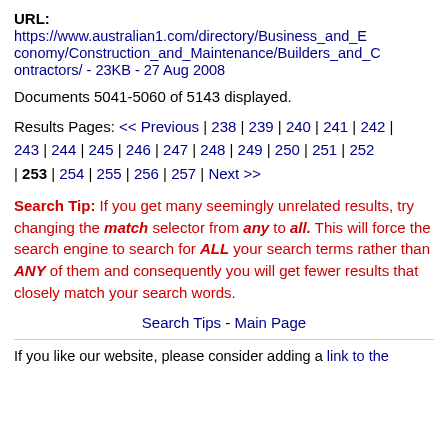URL: https://www.australian1.com/directory/Business_and_Economy/Construction_and_Maintenance/Builders_and_Contractors/ - 23KB - 27 Aug 2008
Documents 5041-5060 of 5143 displayed.
Results Pages: << Previous | 238 | 239 | 240 | 241 | 242 | 243 | 244 | 245 | 246 | 247 | 248 | 249 | 250 | 251 | 252 | 253 | 254 | 255 | 256 | 257 | Next >>
Search Tip: If you get many seemingly unrelated results, try changing the match selector from any to all. This will force the search engine to search for ALL your search terms rather than ANY of them and consequently you will get fewer results that closely match your search words.
Search Tips - Main Page
If you like our website, please consider adding a link to the